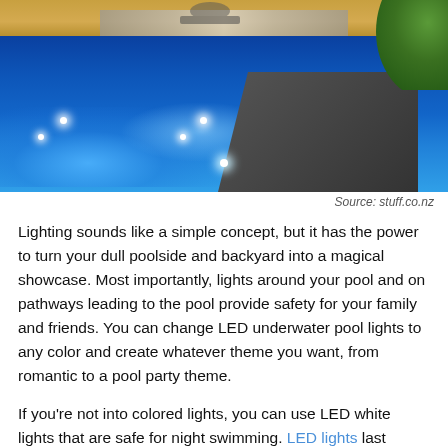[Figure (photo): Illuminated swimming pool at night with bright blue LED underwater lights, wooden deck/coping, glass railings, and a dark stepping stone path. Green plant visible in upper right corner.]
Source: stuff.co.nz
Lighting sounds like a simple concept, but it has the power to turn your dull poolside and backyard into a magical showcase. Most importantly, lights around your pool and on pathways leading to the pool provide safety for your family and friends. You can change LED underwater pool lights to any color and create whatever theme you want, from romantic to a pool party theme.
If you're not into colored lights, you can use LED white lights that are safe for night swimming. LED lights last longer than traditional lights, up to 50,000 hours, meaning you won't have to replace them any time soon. This reduces maintenance costs. They also consume less